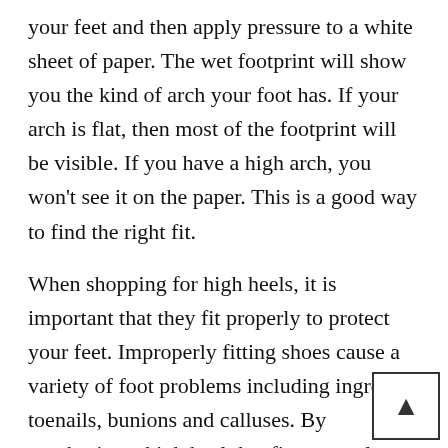your feet and then apply pressure to a white sheet of paper. The wet footprint will show you the kind of arch your foot has. If your arch is flat, then most of the footprint will be visible. If you have a high arch, you won't see it on the paper. This is a good way to find the right fit.
When shopping for high heels, it is important that they fit properly to protect your feet. Improperly fitting shoes cause a variety of foot problems including ingrown toenails, bunions and calluses. By purchasing a high heel that fits correctly, you can protect your feet from unnecessary injuries associated with ill fitting footwear.
When you are shoe shopping, avoid those that have been